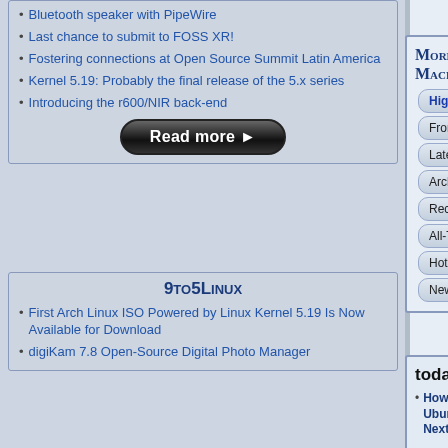Bluetooth speaker with PipeWire
Last chance to submit to FOSS XR!
Fostering connections at Open Source Summit Latin America
Kernel 5.19: Probably the final release of the 5.x series
Introducing the r600/NIR back-end
[Figure (other): Read more button - black rounded rectangle button with white text]
9to5Linux
First Arch Linux ISO Powered by Linux Kernel 5.19 Is Now Available for Download
digiKam 7.8 Open-Source Digital Photo Manager
More in Tux Machines
Highlights
Front Page
Latest Headlines
Archive
Recent comments
All-Time Popular Stories
Hot Topics
New Members
today's howtos
How to install go1.19beta Ubuntu 22.04 – NextGenTips
In this tutorial, we are going